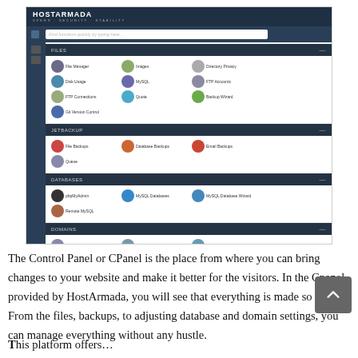[Figure (screenshot): Screenshot of HostArmada cPanel interface showing sections: Files (File Manager, Images, Directory Privacy, Disk Usage, MySQL, FTP Accounts, FTP Connections, Quota, Backups wizard, Git Version Control), JetBackup (File Backups, Database Backups, Email Backups, Queue), Databases (phpMyAdmin, MySQL Databases, MySQL Database Wizard, Remote MySQL), Domains (partially visible)]
The Control Panel or CPanel is the place from where you can bring changes to your website and make it better for the visitors. In the Cpanel provided by HostArmada, you will see that everything is made so clear. From the files, backups, to adjusting database and domain settings, you can manage everything without any hustle.
This platform offers…